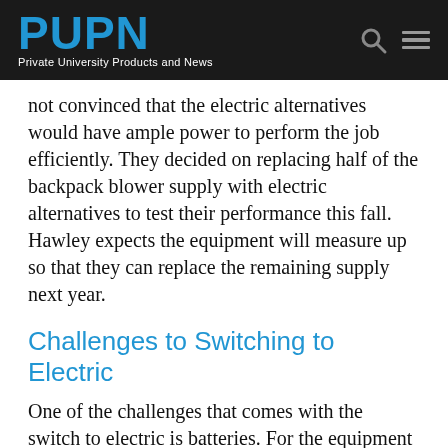PUPN — Private University Products and News
not convinced that the electric alternatives would have ample power to perform the job efficiently. They decided on replacing half of the backpack blower supply with electric alternatives to test their performance this fall. Hawley expects the equipment will measure up so that they can replace the remaining supply next year.
Challenges to Switching to Electric
One of the challenges that comes with the switch to electric is batteries. For the equipment to last, being—they've found that the batt—